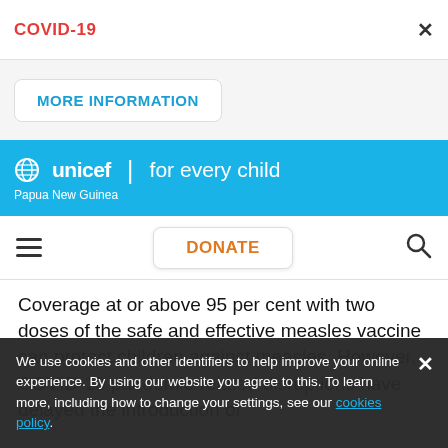COVID-19
MORE INFORMATION
[Figure (logo): UNICEF logo with text 'unicef for every child' and 'Papua New Guinea' on blue background]
DONATE
Coverage at or above 95 per cent with two doses of the safe and effective measles vaccine can protect children against measles. However, COVID-19 pandemic-related disruptions have delayed the introduction of
We use cookies and other identifiers to help improve your online experience. By using our website you agree to this. To learn more, including how to change your settings, see our cookies policy.